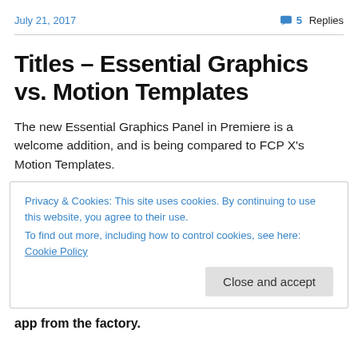July 21, 2017   💬 5 Replies
Titles – Essential Graphics vs. Motion Templates
The new Essential Graphics Panel in Premiere is a welcome addition, and is being compared to FCP X's Motion Templates.
Privacy & Cookies: This site uses cookies. By continuing to use this website, you agree to their use.
To find out more, including how to control cookies, see here: Cookie Policy
Close and accept
app from the factory.